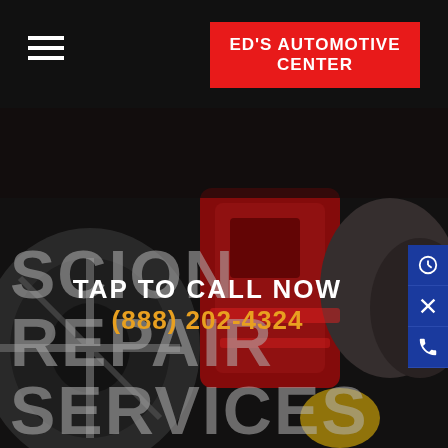ED'S AUTOMOTIVE CENTER
[Figure (photo): Dark background photo of car brake/engine components in red and gray tones, used as hero background for Scion Repair Services page]
SCION REPAIR SERVICES
TAP TO CALL NOW
(888) 202-4324